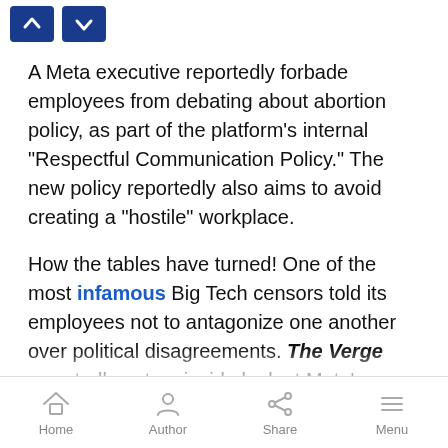[Figure (screenshot): Navigation up/down arrow buttons in dark blue]
A Meta executive reportedly forbade employees from debating about abortion policy, as part of the platform’s internal “Respectful Communication Policy.” The new policy reportedly also aims to avoid creating a “hostile” workplace.
How the tables have turned! One of the most infamous Big Tech censors told its employees not to antagonize one another over political disagreements. The Verge reportedly got an inside look at Meta’s “Respectful Communication Policy.” The policy, “prohibits employees from discussing ‘opinions or debates about abortion...
Home  Author  Share  Menu